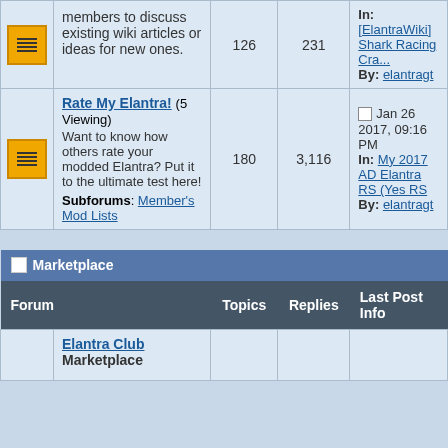| Forum | Topics | Replies | Last Post Info |
| --- | --- | --- | --- |
| [icon] [desc: members to discuss existing wiki articles or ideas for new ones.] | 126 | 231 | In: [ElantrаWiki] Shark Racing Cra...
By: elantragt |
| [icon] Rate My Elantra! (5 Viewing)
Want to know how others rate your modded Elantra? Put it to the ultimate test here!
Subforums: Member's Mod Lists | 180 | 3,116 | Jan 26 2017, 09:16 PM
In: My 2017 AD Elantra RS (Yes RS
By: elantragt |
Marketplace
| Forum | Topics | Replies | Last Post Info |
| --- | --- | --- | --- |
| Elantra Club Marketplace |  |  |  |